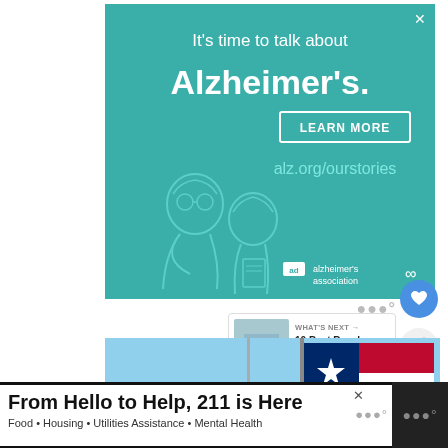[Figure (illustration): Alzheimer's Association advertisement with teal background. Text reads 'It's time to talk about Alzheimer's.' with a LEARN MORE button, alz.org/ourstories URL, illustration of two elderly figures, and alzheimer's association logo.]
[Figure (photo): Photo showing Texas state flag and another flag against a blue sky, with a flagpole visible.]
[Figure (screenshot): What's Next panel showing '10 Best Beach Cities to Liv...' with a thumbnail image.]
[Figure (infographic): Bottom advertisement bar: 'From Hello to Help, 211 is Here' with subtitle 'Food • Housing • Utilities Assistance • Mental Health']